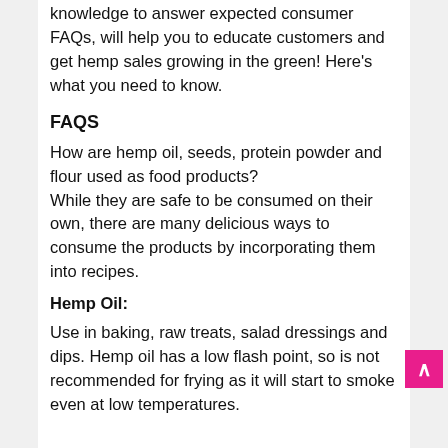Preparing yourself with the right knowledge to answer expected consumer FAQs, will help you to educate customers and get hemp sales growing in the green! Here's what you need to know.
FAQS
How are hemp oil, seeds, protein powder and flour used as food products?
While they are safe to be consumed on their own, there are many delicious ways to consume the products by incorporating them into recipes.
Hemp Oil:
Use in baking, raw treats, salad dressings and dips. Hemp oil has a low flash point, so is not recommended for frying as it will start to smoke even at low temperatures.